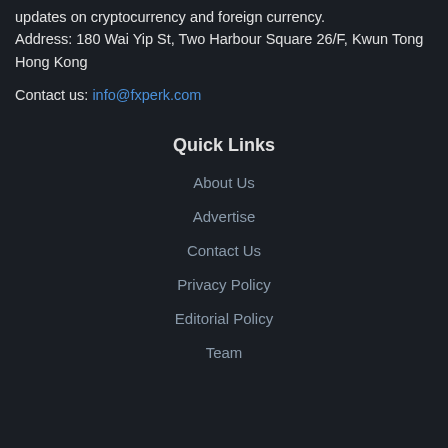updates on cryptocurrency and foreign currency.
Address: 180 Wai Yip St, Two Harbour Square 26/F, Kwun Tong Hong Kong
Contact us: info@fxperk.com
Quick Links
About Us
Advertise
Contact Us
Privacy Policy
Editorial Policy
Team